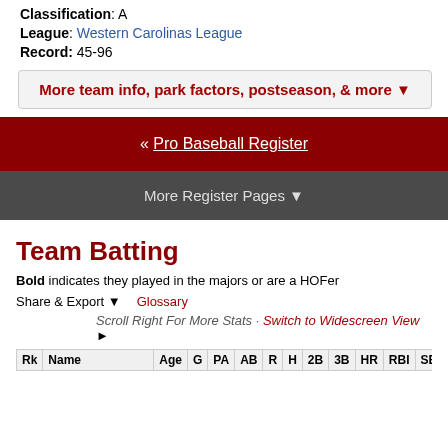Classification: A
League: Western Carolinas League
Record: 45-96
More team info, park factors, postseason, & more ▼
« Pro Baseball Register
More Register Pages ▼
Team Batting
Bold indicates they played in the majors or are a HOFer
Share & Export ▼   Glossary
Scroll Right For More Stats · Switch to Widescreen View ►
| Rk | Name | Age | G | PA | AB | R | H | 2B | 3B | HR | RBI | SB | CS |
| --- | --- | --- | --- | --- | --- | --- | --- | --- | --- | --- | --- | --- | --- |